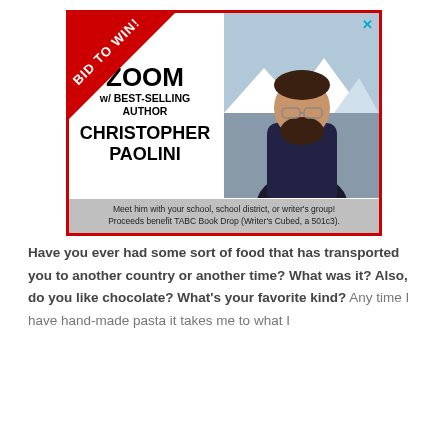[Figure (illustration): Advertisement with red border. Red ribbon banner in top-left corner reads 'BID TO WIN!'. Left side shows text: 'ZOOM w/ BEST-SELLING AUTHOR CHRISTOPHER PAOLINI'. Right side shows a photo of Christopher Paolini, a bearded man with glasses outdoors with mountains in background. Footer text: 'Meet him with your school, school district, or writer's group! Proceeds benefit TABC Book Drop (Writer's Cubed, a 501c3).' An X close button in top-right corner.]
Have you ever had some sort of food that has transported you to another country or another time?  What was it?  Also, do you like chocolate?  What's your favorite kind? Any time I have hand-made pasta it takes me to what I